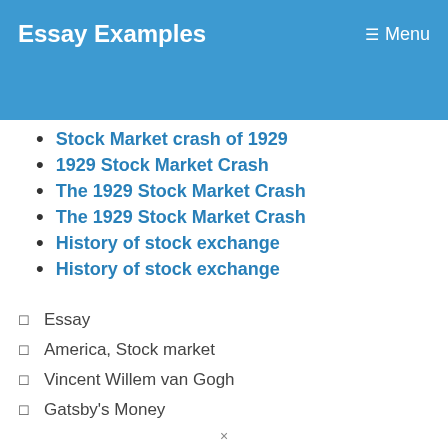Essay Examples   Menu
(partial, cut off at top)
Stock Market crash of 1929
1929 Stock Market Crash
The 1929 Stock Market Crash
The 1929 Stock Market Crash
History of stock exchange
History of stock exchange
Essay
America, Stock market
Vincent Willem van Gogh
Gatsby's Money